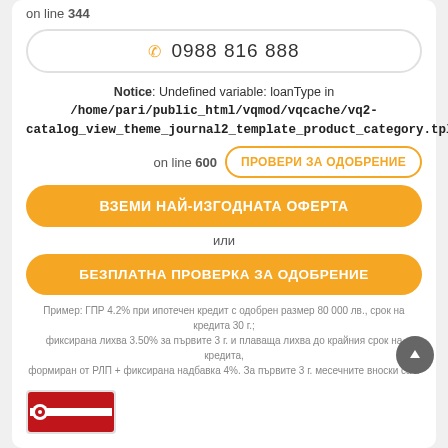on line 344
☎ 0988 816 888
Notice: Undefined variable: loanType in /home/pari/public_html/vqmod/vqcache/vq2-catalog_view_theme_journal2_template_product_category.tpl on line 600
ПРОВЕРИ ЗА ОДОБРЕНИЕ
ВЗЕМИ НАЙ-ИЗГОДНАТА ОФЕРТА
или
БЕЗПЛАТНА ПРОВЕРКА ЗА ОДОБРЕНИЕ
Пример: ГПР 4.2% при ипотечен кредит с одобрен размер 80 000 лв., срок на кредита 30 г.; фиксирана лихва 3.50% за първите 3 г. и плаваща лихва до крайния срок на кредита, формиран от РЛП + фиксирана надбавка 4%. За първите 3 г. месечните вноски са в размер на 359.24 лв. и за следващите 27 г. вноски по кредита… виж повече
[Figure (logo): Bank logo at bottom left]